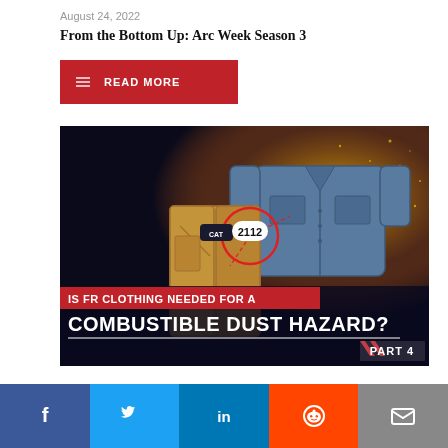August 24, 2022
From the Bottom Up: Arc Week Season 3
READ MORE
[Figure (illustration): Promotional image for FR clothing article. Dark background with sparks, showing illustrated FR shirt (blue) and pants (tan/brown), with a label callout showing 'CAT 2112' in a circle. Text overlay reads: 'IS FR CLOTHING NEEDED FOR A COMBUSTIBLE DUST HAZARD? PART 4']
[Figure (infographic): Social media share bar with Facebook (blue), Twitter (light blue), LinkedIn (dark blue), Reddit (orange), and Email (gray) buttons]